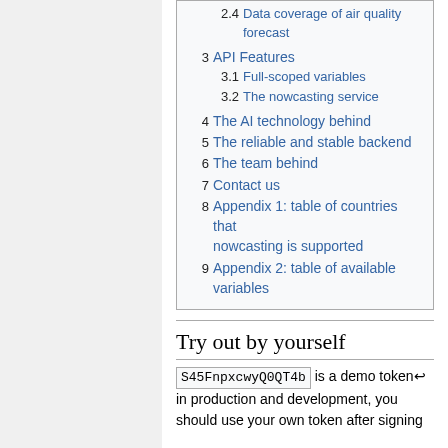2.4 Data coverage of air quality forecast
3 API Features
3.1 Full-scoped variables
3.2 The nowcasting service
4 The AI technology behind
5 The reliable and stable backend
6 The team behind
7 Contact us
8 Appendix 1: table of countries that nowcasting is supported
9 Appendix 2: table of available variables
Try out by yourself
S45FnpxcwyQ0QT4b is a demo token in production and development, you should use your own token after signing